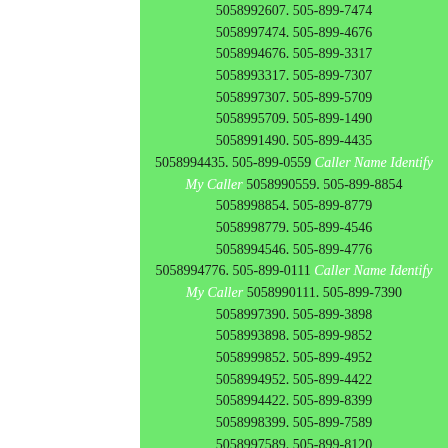5058992607. 505-899-7474 5058997474. 505-899-4676 5058994676. 505-899-3317 5058993317. 505-899-7307 5058997307. 505-899-5709 5058995709. 505-899-1490 5058991490. 505-899-4435 5058994435. 505-899-0559 Caller Name Identify My Caller 5058990559. 505-899-8854 5058998854. 505-899-8779 5058998779. 505-899-4546 5058994546. 505-899-4776 5058994776. 505-899-0111 Caller Name Identify My Caller 5058990111. 505-899-7390 5058997390. 505-899-3898 5058993898. 505-899-9852 5058999852. 505-899-4952 5058994952. 505-899-4422 5058994422. 505-899-8399 5058998399. 505-899-7589 5058997589. 505-899-8120 5058998120. 505-899-0806 Caller Name Identify My Caller 5058990806. 505-899-8479 5058998479. 505-899-5048 5058995048. 505-899-4624